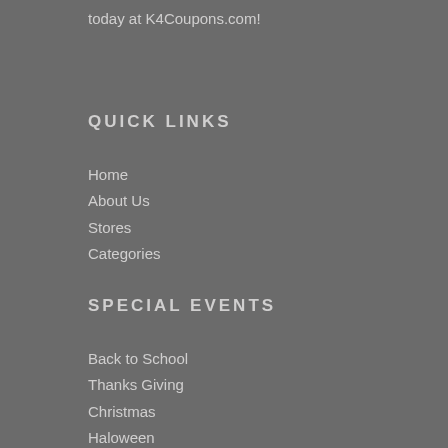today at K4Coupons.com!
QUICK LINKS
Home
About Us
Stores
Categories
SPECIAL EVENTS
Back to School
Thanks Giving
Christmas
Haloween
CyberMonday Deals